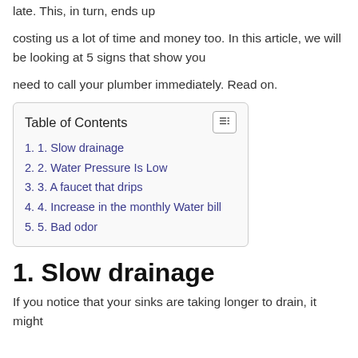late. This, in turn, ends up
costing us a lot of time and money too. In this article, we will be looking at 5 signs that show you
need to call your plumber immediately. Read on.
| Table of Contents |
| --- |
| 1. 1. Slow drainage |
| 2. 2. Water Pressure Is Low |
| 3. 3. A faucet that drips |
| 4. 4. Increase in the monthly Water bill |
| 5. 5. Bad odor |
1. Slow drainage
If you notice that your sinks are taking longer to drain, it might